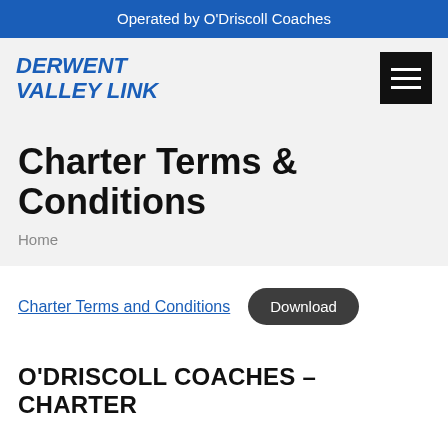Operated by O'Driscoll Coaches
DERWENT VALLEY LINK
Charter Terms & Conditions
Home
Charter Terms and Conditions
Download
O'DRISCOLL COACHES – CHARTER